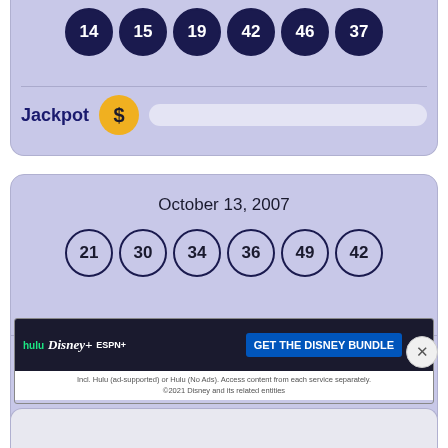[Figure (other): Top partial lottery card showing 6 balls with numbers 14, 15, 19, 42, 46, 37, and a Jackpot row with dollar coin and bar]
[Figure (other): Lottery card for October 13, 2007 showing 6 balls: 21, 30, 34, 36, 49, 42, and partial Jackpot row]
[Figure (other): Advertisement banner for Disney Bundle featuring Hulu, Disney+, ESPN+ logos with GET THE DISNEY BUNDLE CTA]
[Figure (other): Partial bottom lottery card visible at very bottom of page]